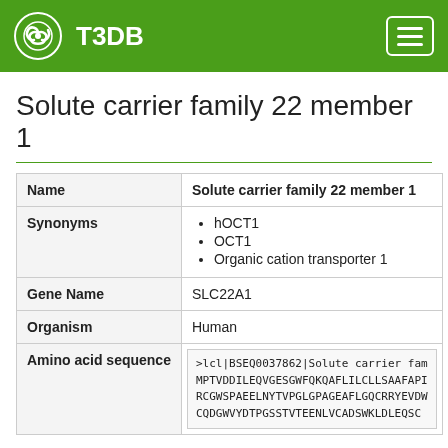T3DB
Solute carrier family 22 member 1
| Field | Value |
| --- | --- |
| Name | Solute carrier family 22 member 1 |
| Synonyms | hOCT1
OCT1
Organic cation transporter 1 |
| Gene Name | SLC22A1 |
| Organism | Human |
| Amino acid sequence | >lcl|BSEQ0037862|Solute carrier fam...
MPTVDDILEQVGESGWFQKQAFLILCLLSAAFAPI...
RCGWSPAEELNYTVPGLGPAGEAFLGQCRRYEVDW...
CQDGWVYDTPGSSTVTEENLVCADSWKLDLEQSC... |